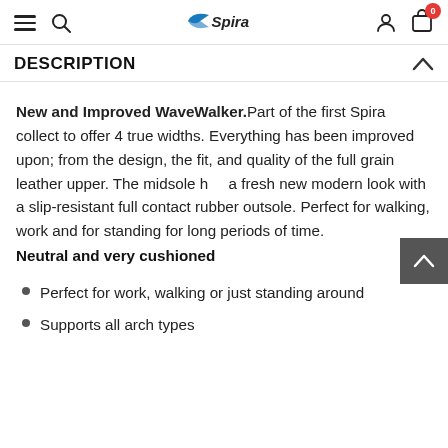Spira (logo)
DESCRIPTION
New and Improved WaveWalker. Part of the first Spira collect to offer 4 true widths. Everything has been improved upon; from the design, the fit, and quality of the full grain leather upper. The midsole has a fresh new modern look with a slip-resistant full contact rubber outsole. Perfect for walking, work and for standing for long periods of time.
Neutral and very cushioned
Perfect for work, walking or just standing around
Supports all arch types